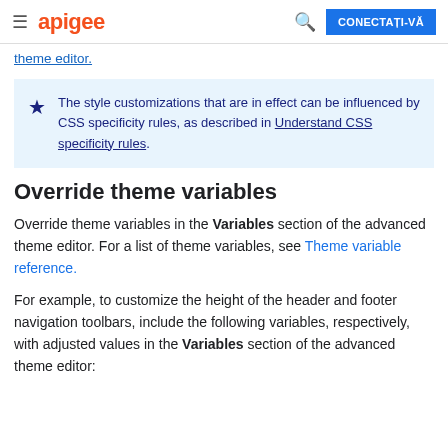≡ apigee   🔍   CONECTAȚI-VĂ
theme editor.
The style customizations that are in effect can be influenced by CSS specificity rules, as described in Understand CSS specificity rules.
Override theme variables
Override theme variables in the Variables section of the advanced theme editor. For a list of theme variables, see Theme variable reference.
For example, to customize the height of the header and footer navigation toolbars, include the following variables, respectively, with adjusted values in the Variables section of the advanced theme editor: